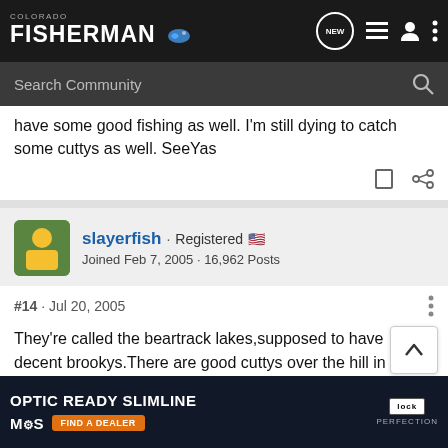COLORADO FISHERMAN
Search Community
have some good fishing as well. I'm still dying to catch some cuttys as well. SeeYas
slayerfish · Registered
Joined Feb 7, 2005 · 16,962 Posts
#14 · Jul 20, 2005
They're called the beartrack lakes,supposed to have decent brookys.There are good cuttys over the hill in the chicago lakes,bu
[Figure (screenshot): Glock advertisement banner: OPTIC READY SLIMLINE, MOS, FIND A DEALER, GLOCK PERFECTION]